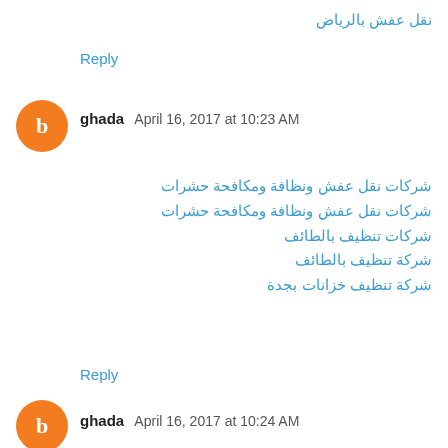نقل عفش بالرياض
Reply
ghada  April 16, 2017 at 10:23 AM
شركات نقل عفش ونظافة ومكافحة حشرات
شركات نقل عفش ونظافة ومكافحة حشرات
شركات تنظيف بالطائف
شركة تنظيف بالطائف
شركة تنظيف خزانات بجدة
Reply
ghada  April 16, 2017 at 10:24 AM